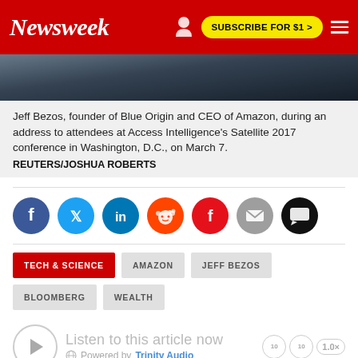Newsweek — SUBSCRIBE FOR $1 >
[Figure (photo): Partial view of a man in a suit, cropped photo used as article header image]
Jeff Bezos, founder of Blue Origin and CEO of Amazon, during an address to attendees at Access Intelligence's Satellite 2017 conference in Washington, D.C., on March 7.
REUTERS/JOSHUA ROBERTS
[Figure (infographic): Social sharing icons row: Facebook, Twitter, LinkedIn, Reddit, Flipboard, Email, Comments]
TECH & SCIENCE
AMAZON
JEFF BEZOS
BLOOMBERG
WEALTH
Listen to this article now
Powered by Trinity Audio